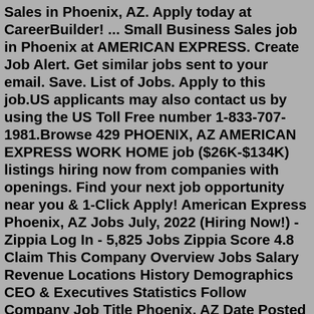Sales in Phoenix, AZ. Apply today at CareerBuilder! ... Small Business Sales job in Phoenix at AMERICAN EXPRESS. Create Job Alert. Get similar jobs sent to your email. Save. List of Jobs. Apply to this job.US applicants may also contact us by using the US Toll Free number 1-833-707-1981.Browse 429 PHOENIX, AZ AMERICAN EXPRESS WORK HOME job ($26K-$134K) listings hiring now from companies with openings. Find your next job opportunity near you & 1-Click Apply! American Express Phoenix, AZ Jobs July, 2022 (Hiring Now!) - Zippia Log In - 5,825 Jobs Zippia Score 4.8 Claim This Company Overview Jobs Salary Revenue Locations History Demographics CEO & Executives Statistics Follow Company Job Title Phoenix, AZ Date Posted 4.8 Account Protection Specialist- Credit Bust Out (Hybrid/ Virtual) American ExpressPhoenix (PHX) Las Vegas (LAS) San Francisco (SFO) London (LHR) Seattle (SEA) Los Angeles (LAX) Washington, D.C. (DCA) (scheduled to open 2022) You need to be on a